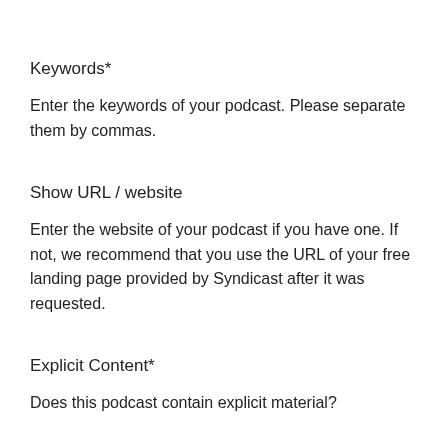Keywords*
Enter the keywords of your podcast. Please separate them by commas.
Show URL / website
Enter the website of your podcast if you have one. If not, we recommend that you use the URL of your free landing page provided by Syndicast after it was requested.
Explicit Content*
Does this podcast contain explicit material?